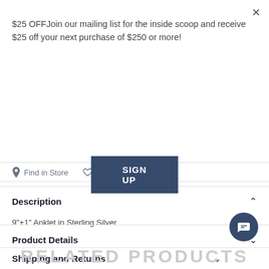$25 OFFJoin our mailing list for the inside scoop and receive $25 off your next purchase of $250 or more!
SIGN UP
Find in Store
Add to wishlist
Description
9"+1" Anklet in Sterling Silver
Product Details
Shipping and Returns
RELATED PRODUCTS